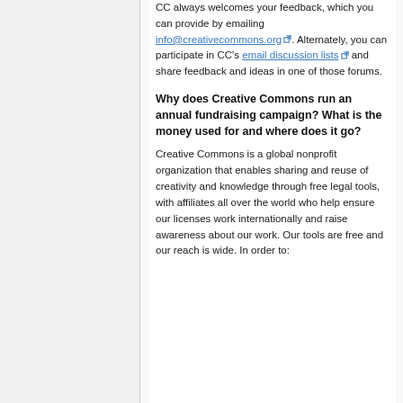CC always welcomes your feedback, which you can provide by emailing info@creativecommons.org. Alternately, you can participate in CC's email discussion lists and share feedback and ideas in one of those forums.
Why does Creative Commons run an annual fundraising campaign? What is the money used for and where does it go?
Creative Commons is a global nonprofit organization that enables sharing and reuse of creativity and knowledge through free legal tools, with affiliates all over the world who help ensure our licenses work internationally and raise awareness about our work. Our tools are free and our reach is wide. In order to: